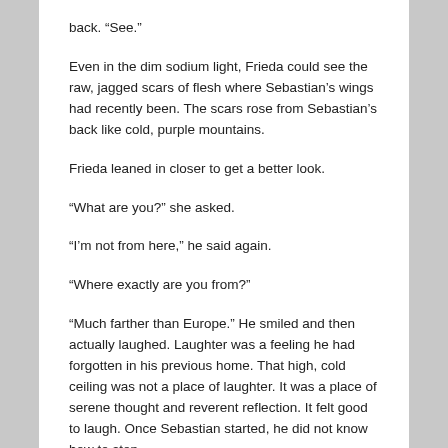back. “See.”
Even in the dim sodium light, Frieda could see the raw, jagged scars of flesh where Sebastian’s wings had recently been. The scars rose from Sebastian’s back like cold, purple mountains.
Frieda leaned in closer to get a better look.
“What are you?” she asked.
“I’m not from here,” he said again.
“Where exactly are you from?”
“Much farther than Europe.” He smiled and then actually laughed. Laughter was a feeling he had forgotten in his previous home. That high, cold ceiling was not a place of laughter. It was a place of serene thought and reverent reflection. It felt good to laugh. Once Sebastian started, he did not know how to stop.